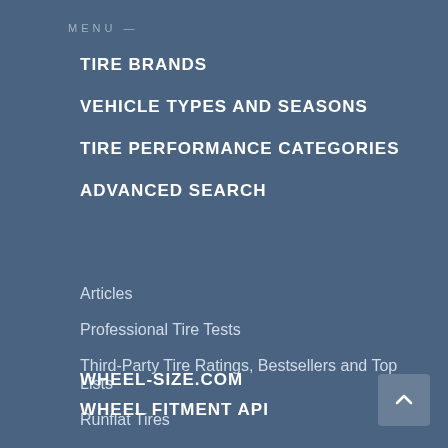MENU —
TIRE BRANDS
VEHICLE TYPES AND SEASONS
TIRE PERFORMANCE CATEGORIES
ADVANCED SEARCH
Articles
Professional Tire Tests
Third-Party Tire Ratings, Bestsellers and Top Lists
Runflat Tires
About
Privacy Policy
WHEEL-SIZE.COM
WHEEL FITMENT API